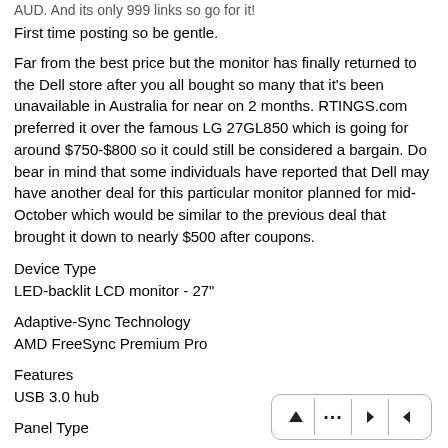First time posting so be gentle.
Far from the best price but the monitor has finally returned to the Dell store after you all bought so many that it's been unavailable in Australia for near on 2 months. RTINGS.com preferred it over the famous LG 27GL850 which is going for around $750-$800 so it could still be considered a bargain. Do bear in mind that some individuals have reported that Dell may have another deal for this particular monitor planned for mid-October which would be similar to the previous deal that brought it down to nearly $500 after coupons.
Device Type
LED-backlit LCD monitor - 27"
Adaptive-Sync Technology
AMD FreeSync Premium Pro
Features
USB 3.0 hub
Panel Type